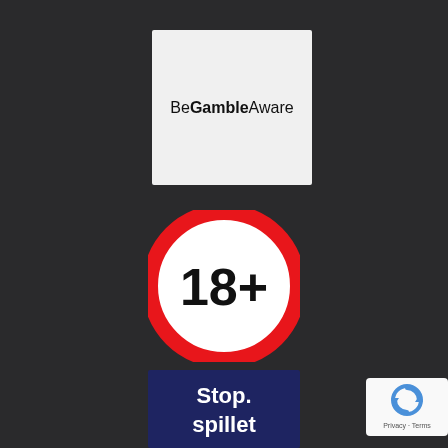[Figure (logo): BeGambleAware logo on white/light gray square background. Text reads 'BeGambleAware' in sans-serif font with bold 'Gamble' portion.]
[Figure (logo): 18+ age restriction badge: white circle with bold black '18+' text, surrounded by thick red circular border, on dark background.]
[Figure (logo): Stopspillet logo: dark navy/blue square with white bold text 'Stop spillet' on two lines.]
[Figure (logo): Google reCAPTCHA badge: white rounded rectangle showing reCAPTCHA circular arrow icon and 'Privacy · Terms' text.]